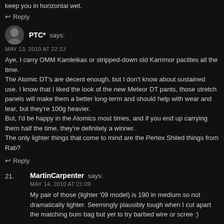keep you in horizontal wet.
↩ Reply
PTC* says:
MAY 13, 2010 AT 22:23
Aye, I carry OMM Kamleikas or stripped-down old Karrimor paclites all the time.
The Atomic DT's are decent enough, but I don't know about sustained use. I know that I liked the look of the new Meteor DT pants, those stretch panels will make them a better long-term and should help with wear and tear, but they're 100g heavier.
But, I'd be happy in the Atomics most times, and if you end up carrying them half the time, they're definitely a winner.
The only lighter things that come to mind are the Pertex Shiled things from Rab?
↩ Reply
21. MartinCarpenter says:
MAY 14, 2010 AT 21:09
My pair of those (lighter '09 model) is 190 in medium so not dramatically lighter. Seemingly plausibly tough when I cut apart the matching bum bag but yet to try barbed wire or scree :)